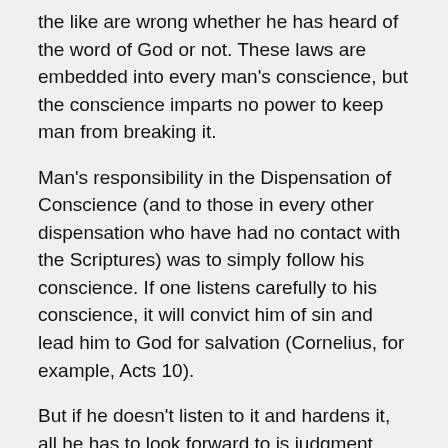the like are wrong whether he has heard of the word of God or not. These laws are embedded into every man's conscience, but the conscience imparts no power to keep man from breaking it.
Man's responsibility in the Dispensation of Conscience (and to those in every other dispensation who have had no contact with the Scriptures) was to simply follow his conscience. If one listens carefully to his conscience, it will convict him of sin and lead him to God for salvation (Cornelius, for example, Acts 10).
But if he doesn't listen to it and hardens it, all he has to look forward to is judgment. Since the people from Adam to Noah ignored their conscience and followed wickedness, God was forced to bring judgment—the flood. Man fails again.
Mankind did not follow the God given conscience and